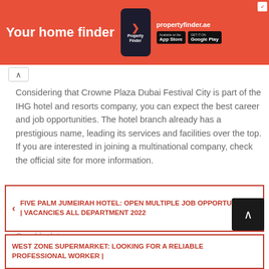[Figure (screenshot): Property Finder advertisement banner with red background showing 'Your home finder' text, phone mockup with Property Finder logo, propertyfinder.ae URL, and App Store/Google Play download buttons]
Considering that Crowne Plaza Dubai Festival City is part of the IHG hotel and resorts company, you can expect the best career and job opportunities. The hotel branch already has a prestigious name, leading its services and facilities over the top. If you are interested in joining a multinational company, check the official site for more information.
Good luck to you
Jobs Archives Crowne Plaza Dubai Festival City
FIVE PALM JUMEIRAH HOTEL: OPEN MULTIPLE JOB OPPORTUNITIES | VACANCIES ALL DEPARTMENT 2022
WEST ZONE SUPERMARKET: LOOKING FOR A RELIABLE PROFESSIONAL WORKER |